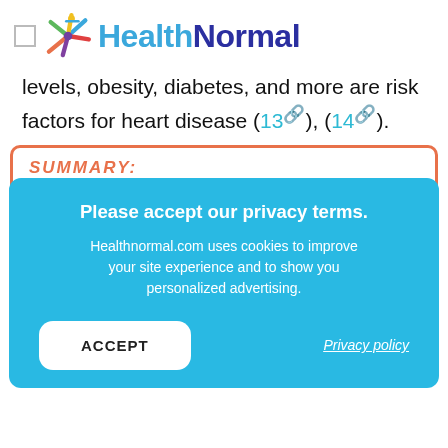HealthNormal
levels, obesity, diabetes, and more are risk factors for heart disease (13), (14).
SUMMARY:
Please accept our privacy terms. Healthnormal.com uses cookies to improve your site experience and to show you personalized advertising.
ACCEPT
Privacy policy